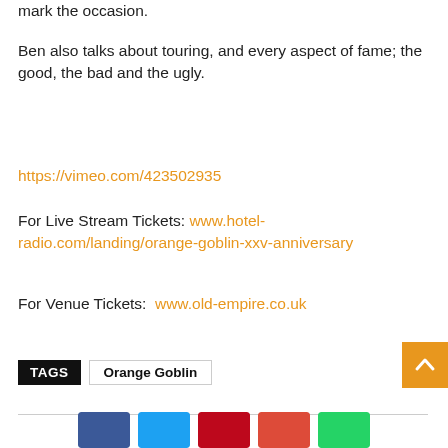mark the occasion.
Ben also talks about touring, and every aspect of fame; the good, the bad and the ugly.
https://vimeo.com/423502935
For Live Stream Tickets: www.hotel-radio.com/landing/orange-goblin-xxv-anniversary
For Venue Tickets: www.old-empire.co.uk
TAGS   Orange Goblin
[Figure (other): Social share buttons: Facebook (blue), Twitter (cyan), Pinterest (red), Google+ (red-orange), WhatsApp (green)]